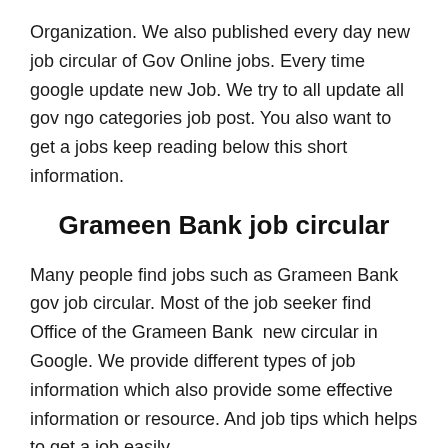Organization. We also published every day new job circular of Gov Online jobs. Every time google update new Job. We try to all update all gov ngo categories job post. You also want to get a jobs keep reading below this short information.
Grameen Bank job circular
Many people find jobs such as Grameen Bank gov job circular. Most of the job seeker find Office of the Grameen Bank  new circular in Google. We provide different types of job information which also provide some effective information or resource. And job tips which helps to get a job easily.